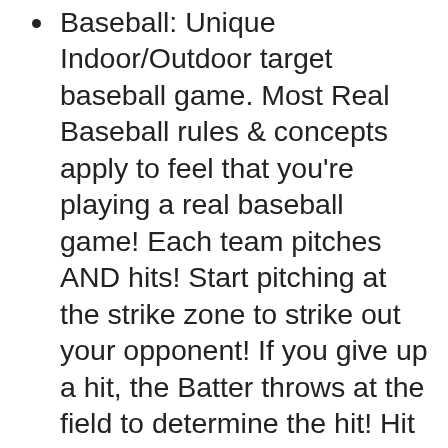Baseball: Unique Indoor/Outdoor target baseball game. Most Real Baseball rules & concepts apply to feel that you're playing a real baseball game! Each team pitches AND hits! Start pitching at the strike zone to strike out your opponent! If you give up a hit, the Batter throws at the field to determine the hit! Hit options: foul ball, single, double, triple, home run, double play, sacrifice hit. Detailed instruction manual, score cards & dry erase marker included! For every Yankees & Dodgers fan!
Dartboard: 01' Games, Cricket, Around the clock. 12 SAFE sticky dart balls. NO sharp edged darts! NO heavy board that can fall and kill a baby or break your toe! Play GUD Velcro darts game with our felt dart board. NOT magnetic darts. Detailed instruction